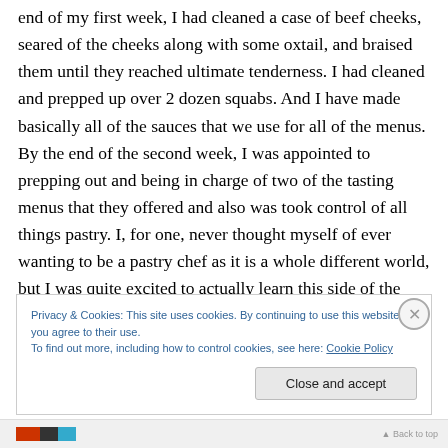end of my first week, I had cleaned a case of beef cheeks, seared of the cheeks along with some oxtail, and braised them until they reached ultimate tenderness. I had cleaned and prepped up over 2 dozen squabs. And I have made basically all of the sauces that we use for all of the menus. By the end of the second week, I was appointed to prepping out and being in charge of two of the tasting menus that they offered and also was took control of all things pastry. I, for one, never thought myself of ever wanting to be a pastry chef as it is a whole different world, but I was quite excited to actually learn this side of the
Privacy & Cookies: This site uses cookies. By continuing to use this website, you agree to their use.
To find out more, including how to control cookies, see here: Cookie Policy
Close and accept